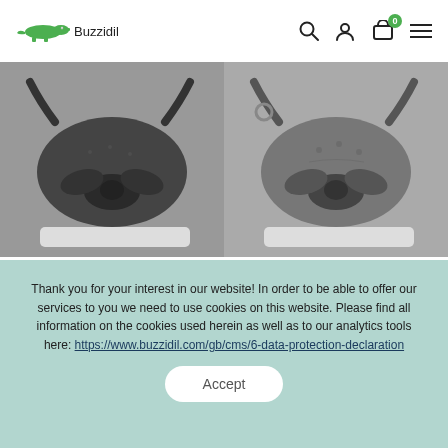Buzzidil
[Figure (photo): BuzziTai Facette Black Beauty product photo showing back of baby carrier with black fabric tied at waist]
BuzziTai Facette Black Beauty I MeiTai & SSC €155.90
[Figure (photo): BuzziTai Eden Haze product photo showing back of baby carrier with grey fabric tied at waist]
BuzziTai Eden Haze I MeiTai & SSC €155.90
Thank you for your interest in our website! In order to be able to offer our services to you we need to use cookies on this website. Please find all information on the cookies used herein as well as to our analytics tools here: https://www.buzzidil.com/gb/cms/6-data-protection-declaration